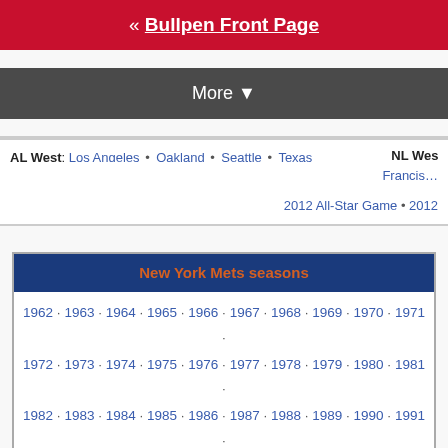« Bullpen Front Page
More ▼
AL West: Los Angeles • Oakland • Seattle • Texas   NL Wes: Francis…
2012 All-Star Game • 2012 …
New York Mets seasons
1962 · 1963 · 1964 · 1965 · 1966 · 1967 · 1968 · 1969 · 1970 · 1971 · 1972 · 1973 · 1974 · 1975 · 1976 · 1977 · 1978 · 1979 · 1980 · 1981 · 1982 · 1983 · 1984 · 1985 · 1986 · 1987 · 1988 · 1989 · 1990 · 1991 · 1992 · 1993 · 1994 · 1995 · 1996 · 1997 · 1998 · 1999 · 2000 · 2001 · 2002 · 2003 · 2004 · 2005 · 2006 · 2007 · 2008 · 2009 · 2010 · 2011 · 2012 · 2013 . 2014 . 2015 . 2016 . 2017 . 2018 . 2019 . 2020 . 2021 . 2022